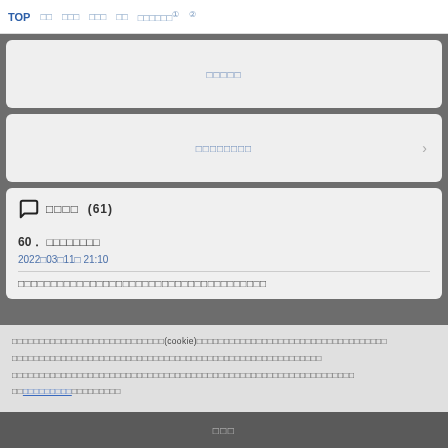TOP　　　□□　　□□□　　□□□　　□□　　□□□□□□①　　②
□□□□□
□□□□□□□□ >
□□□□　(61)
60.　□□□□□□□□
2022□03□11□ 21:10
□□□□□□□□□□□□□□□□□□□□□□□□□□□□□□□□□□□□□□
□□□□□□□□□□□□□□□□□□□□□□□□□□□□(cookie)□□□□□□□□□□□□□□□□□□□□□□□□□□□□□□□□□□□□□□□□□□□□□□□□□□□□□□□□□□□□□□□□□□□□□□□□□□□□□□□□□□□□□□□□□□□□□□□□□□□□□□
□□□□□□□□□□□□□□□□□□□□□□□□□□□□□□□□□□□□□□□□□□□□□□□□□□□□□□□□□□□□□□□□□□□□
□□□